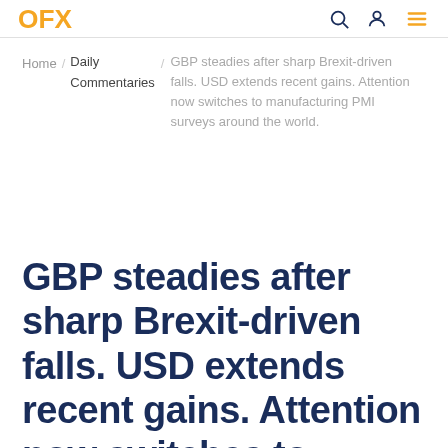OFX | Home / Daily Commentaries / GBP steadies after sharp Brexit-driven falls. USD extends recent gains. Attention now switches to manufacturing PMI surveys around the world.
Home / Daily Commentaries / GBP steadies after sharp Brexit-driven falls. USD extends recent gains. Attention now switches to manufacturing PMI surveys around the world.
GBP steadies after sharp Brexit-driven falls. USD extends recent gains. Attention now switches to manufacturing PMI